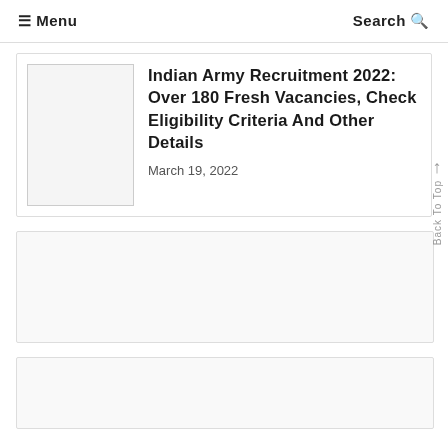≡ Menu   Search 🔍
Indian Army Recruitment 2022: Over 180 Fresh Vacancies, Check Eligibility Criteria And Other Details
March 19, 2022
[Figure (other): Empty advertisement or image placeholder box]
[Figure (other): Empty advertisement or image placeholder box, smaller]